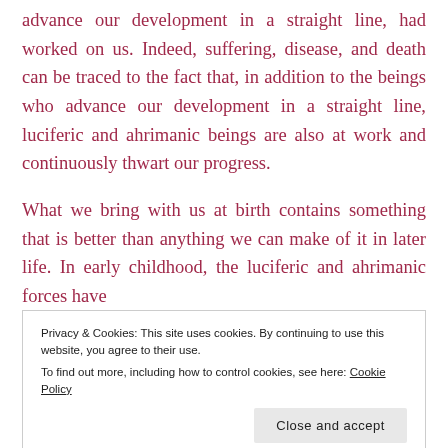advance our development in a straight line, had worked on us. Indeed, suffering, disease, and death can be traced to the fact that, in addition to the beings who advance our development in a straight line, luciferic and ahrimanic beings are also at work and continuously thwart our progress.
What we bring with us at birth contains something that is better than anything we can make of it in later life. In early childhood, the luciferic and ahrimanic forces have
Privacy & Cookies: This site uses cookies. By continuing to use this website, you agree to their use.
To find out more, including how to control cookies, see here: Cookie Policy
childhood, its influence would be too much for us